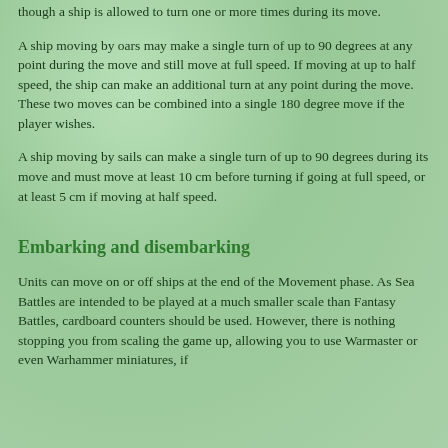though a ship is allowed to turn one or more times during its move.
A ship moving by oars may make a single turn of up to 90 degrees at any point during the move and still move at full speed. If moving at up to half speed, the ship can make an additional turn at any point during the move. These two moves can be combined into a single 180 degree move if the player wishes.
A ship moving by sails can make a single turn of up to 90 degrees during its move and must move at least 10 cm before turning if going at full speed, or at least 5 cm if moving at half speed.
Embarking and disembarking
Units can move on or off ships at the end of the Movement phase. As Sea Battles are intended to be played at a much smaller scale than Fantasy Battles, cardboard counters should be used. However, there is nothing stopping you from scaling the game up, allowing you to use Warmaster or even Warhammer miniatures, if